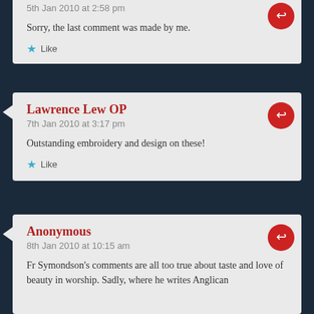5th Jan 2010 at 2:58 pm
Sorry, the last comment was made by me.
Like
Lawrence Lew OP
7th Jan 2010 at 3:17 pm
Outstanding embroidery and design on these!
Like
Anonymous
8th Jan 2010 at 10:15 am
Fr Symondson's comments are all too true about taste and love of beauty in worship. Sadly, where he writes Anglican